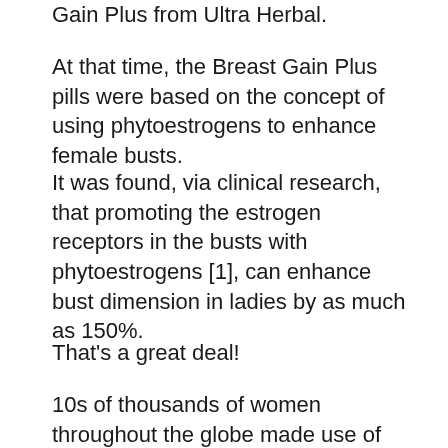Gain Plus from Ultra Herbal.
At that time, the Breast Gain Plus pills were based on the concept of using phytoestrogens to enhance female busts.
It was found, via clinical research, that promoting the estrogen receptors in the busts with phytoestrogens [1], can enhance bust dimension in ladies by as much as 150%.
That's a great deal!
10s of thousands of women throughout the globe made use of these tablets as well as profited substantially from them.